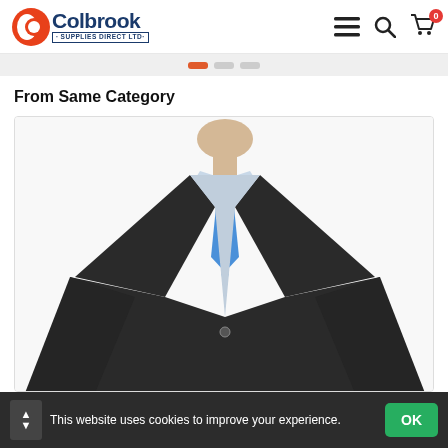[Figure (logo): Colbrook Supplies Direct Ltd logo with orange/red circle icon and blue text]
[Figure (infographic): Navigation icons: hamburger menu, search, and shopping cart with 0 badge]
[Figure (infographic): Carousel navigation dots: one active orange dot and two grey dots]
From Same Category
[Figure (photo): Dark suit jacket on a mannequin with blue shirt and blue tie on white background]
This website uses cookies to improve your experience.